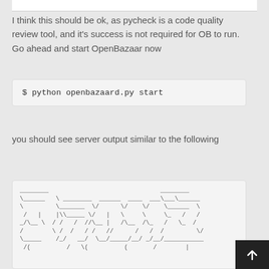I think this should be ok, as pycheck is a code quality review tool, and it's success is not required for OB to run. Go ahead and start OpenBazaar now
$ python openbazaard.py start
you should see server output similar to the following
[Figure (other): ASCII art banner for OpenBazaar displayed in a code/terminal block]